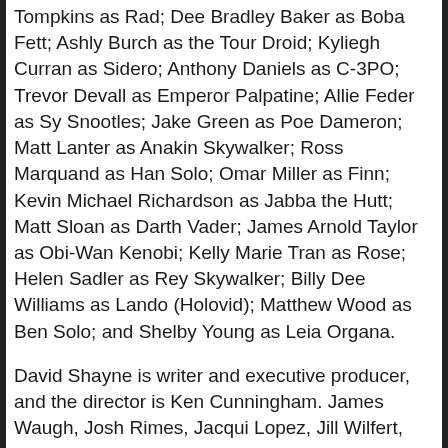Tompkins as Rad; Dee Bradley Baker as Boba Fett; Ashly Burch as the Tour Droid; Kyliegh Curran as Sidero; Anthony Daniels as C-3PO; Trevor Devall as Emperor Palpatine; Allie Feder as Sy Snootles; Jake Green as Poe Dameron; Matt Lanter as Anakin Skywalker; Ross Marquand as Han Solo; Omar Miller as Finn; Kevin Michael Richardson as Jabba the Hutt; Matt Sloan as Darth Vader; James Arnold Taylor as Obi-Wan Kenobi; Kelly Marie Tran as Rose; Helen Sadler as Rey Skywalker; Billy Dee Williams as Lando (Holovid); Matthew Wood as Ben Solo; and Shelby Young as Leia Organa.
David Shayne is writer and executive producer, and the director is Ken Cunningham. James Waugh, Josh Rimes, Jacqui Lopez, Jill Wilfert, Jason Cosler, Keith Malone, and Jennifer Twiner